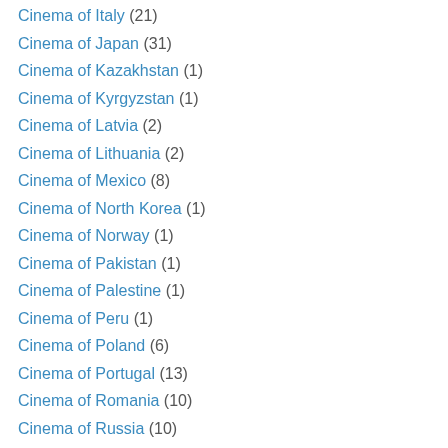Cinema of Italy (21)
Cinema of Japan (31)
Cinema of Kazakhstan (1)
Cinema of Kyrgyzstan (1)
Cinema of Latvia (2)
Cinema of Lithuania (2)
Cinema of Mexico (8)
Cinema of North Korea (1)
Cinema of Norway (1)
Cinema of Pakistan (1)
Cinema of Palestine (1)
Cinema of Peru (1)
Cinema of Poland (6)
Cinema of Portugal (13)
Cinema of Romania (10)
Cinema of Russia (10)
Cinema of Senegal (1)
Cinema of South Korea (7)
Cinema of Spain (15)
Cinema of Sri Lanka (2)